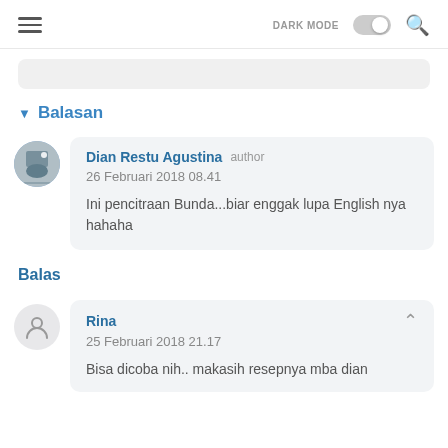DARK MODE [toggle] [search]
▾ Balasan
Dian Restu Agustina author
26 Februari 2018 08.41
Ini pencitraan Bunda...biar enggak lupa English nya hahaha
Balas
Rina
25 Februari 2018 21.17
Bisa dicoba nih.. makasih resepnya mba dian